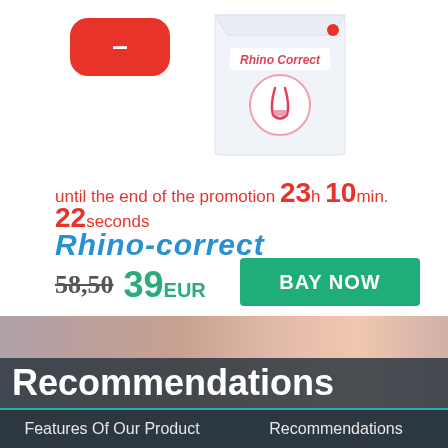[Figure (logo): Red rounded rectangle YouTube-style play button with minus/dash icon]
[Figure (photo): Product box image for Rhino Correct nasal corrector device]
until the end of the promotion 23h 10min. 22seconds
Rhino-correct
58,50 39EUR
BAY NOW
[Figure (photo): Blurred close-up photo of a nose, transitioning from grey/purple to skin tone]
Recommendations
Features Of Our Product   Recommendations